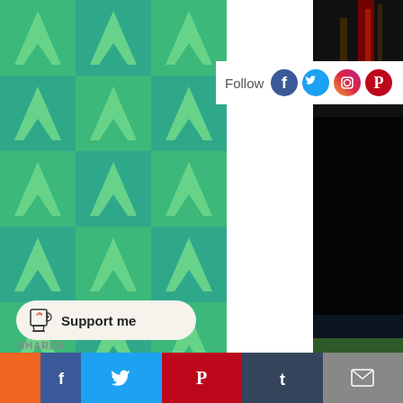[Figure (illustration): Tiled green and teal checkerboard pattern with Star Trek-style arrow/delta shield shapes in lighter green, arranged in a grid across the left portion of the page]
[Figure (photo): Dark photo top right corner showing what appears to be a red and black object, possibly a bicycle or equipment]
[Figure (photo): Very dark/black photo in the middle right area, nearly completely dark]
[Figure (photo): Partial dark green photo at bottom right, possibly showing a golf green or grass surface]
Follow
[Figure (infographic): Row of social media icons: Facebook (blue circle with f), Twitter (blue circle with bird), Instagram (gradient circle with camera), Pinterest (red circle with P)]
[Figure (infographic): Support me button with Ko-fi cup icon and heart]
SHARES
[Figure (infographic): Share button row at bottom: orange, blue (Facebook), Twitter, Pinterest, Tumblr, email/envelope icons]